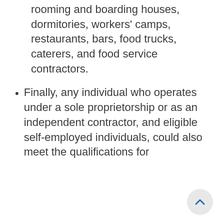rooming and boarding houses, dormitories, workers' camps, restaurants, bars, food trucks, caterers, and food service contractors.
Finally, any individual who operates under a sole proprietorship or as an independent contractor, and eligible self-employed individuals, could also meet the qualifications for